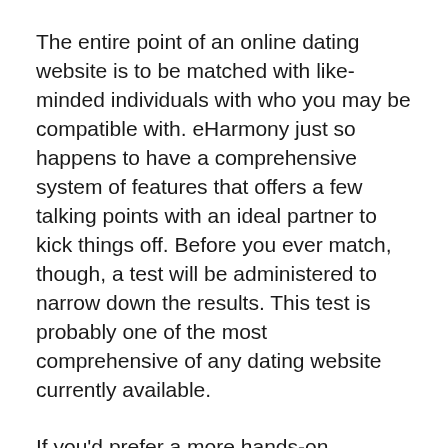The entire point of an online dating website is to be matched with like-minded individuals with who you may be compatible with. eHarmony just so happens to have a comprehensive system of features that offers a few talking points with an ideal partner to kick things off. Before you ever match, though, a test will be administered to narrow down the results. This test is probably one of the most comprehensive of any dating website currently available.
If you'd prefer a more hands-on approach, there is even an active user forum available to chat with people from across the globe. eHarmony really takes into account what people want and enjoy using.